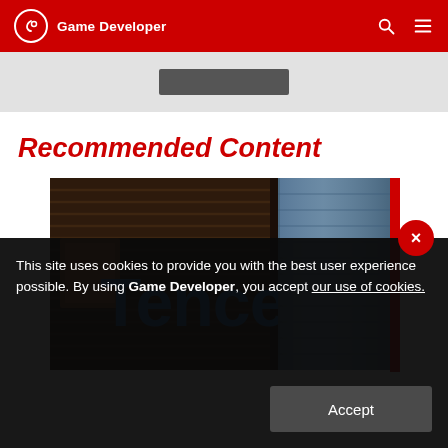Game Developer
Recommended Content
[Figure (photo): Tencent headquarters building with large blue Tencent logo text illuminated on a dark facade, with a glass skyscraper visible behind it]
This site uses cookies to provide you with the best user experience possible. By using Game Developer, you accept our use of cookies.
Accept